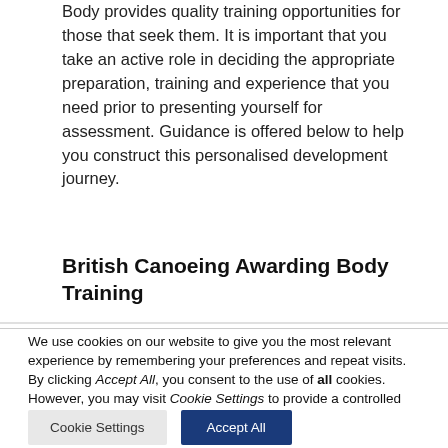Body provides quality training opportunities for those that seek them. It is important that you take an active role in deciding the appropriate preparation, training and experience that you need prior to presenting yourself for assessment. Guidance is offered below to help you construct this personalised development journey.
British Canoeing Awarding Body Training
We use cookies on our website to give you the most relevant experience by remembering your preferences and repeat visits. By clicking Accept All, you consent to the use of all cookies. However, you may visit Cookie Settings to provide a controlled consent.